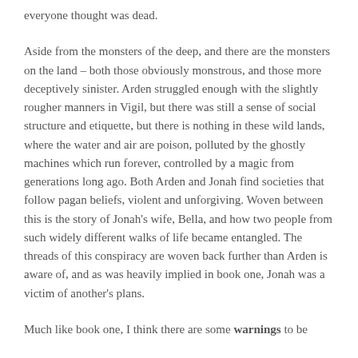everyone thought was dead.
Aside from the monsters of the deep, and there are the monsters on the land – both those obviously monstrous, and those more deceptively sinister. Arden struggled enough with the slightly rougher manners in Vigil, but there was still a sense of social structure and etiquette, but there is nothing in these wild lands, where the water and air are poison, polluted by the ghostly machines which run forever, controlled by a magic from generations long ago. Both Arden and Jonah find societies that follow pagan beliefs, violent and unforgiving. Woven between this is the story of Jonah's wife, Bella, and how two people from such widely different walks of life became entangled. The threads of this conspiracy are woven back further than Arden is aware of, and as was heavily implied in book one, Jonah was a victim of another's plans.
Much like book one, I think there are some warnings to be